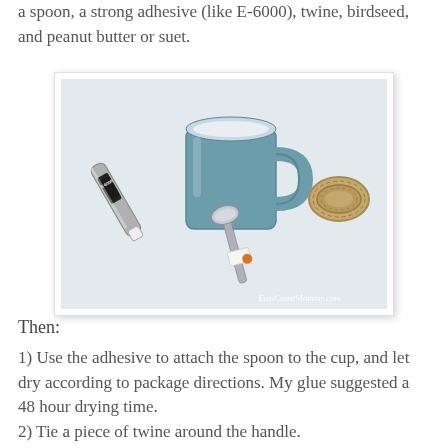a spoon, a strong adhesive (like E-6000), twine, birdseed, and peanut butter or suet.
[Figure (photo): Photo of craft supplies on a white cloth: a teal/blue mug, a tube of E-6000 adhesive, a metal spoon with a tag, and a coil of twine. Watermark reads EastCoastMommy.com]
Then:
1) Use the adhesive to attach the spoon to the cup, and let dry according to package directions. My glue suggested a 48 hour drying time.
2) Tie a piece of twine around the handle.